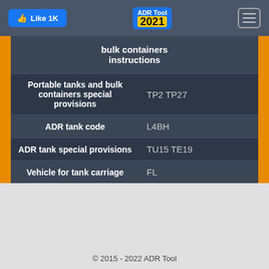[Figure (screenshot): Navigation bar with Like 1K button, ADR Tool 2021 logo, and hamburger menu]
| bulk containers instructions |  |
| Portable tanks and bulk containers special provisions | TP2 TP27 |
| ADR tank code | L4BH |
| ADR tank special provisions | TU15 TE19 |
| Vehicle for tank carriage | FL |
© 2015 - 2022 ADR Tool